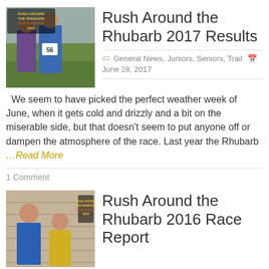[Figure (photo): Two runners posing outdoors with rhubarb plants, with a 'Rush Around the Rhubarb Senior Winners 2017' overlay logo. Man in blue race vest numbered 56, woman in purple.]
Rush Around the Rhubarb 2017 Results
General News, Juniors, Seniors, Trail   June 28, 2017
We seem to have picked the perfect weather week of June, when it gets cold and drizzly and a bit on the miserable side, but that doesn't seem to put anyone off or dampen the atmosphere of the race. Last year the Rhubarb …Read More
1 Comment
[Figure (photo): Two runners posing outdoors with a 'Rush Around the Rhubarb Senior Winners 2016' overlay logo. Young man in blue jacket, older person in yellow top.]
Rush Around the Rhubarb 2016 Race Report